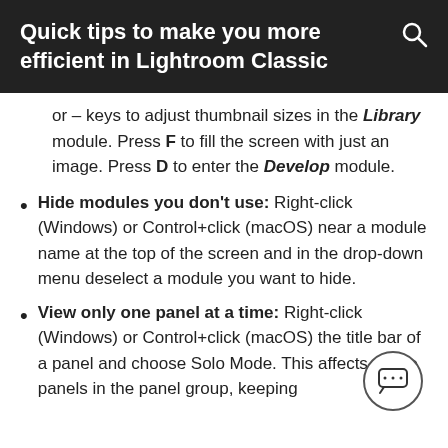Quick tips to make you more efficient in Lightroom Classic
or – keys to adjust thumbnail sizes in the Library module. Press F to fill the screen with just an image. Press D to enter the Develop module.
Hide modules you don't use: Right-click (Windows) or Control+click (macOS) near a module name at the top of the screen and in the drop-down menu deselect a module you want to hide.
View only one panel at a time: Right-click (Windows) or Control+click (macOS) the title bar of a panel and choose Solo Mode. This affects all the panels in the panel group, keeping
[Figure (illustration): Chat/comment bubble icon in a circle]